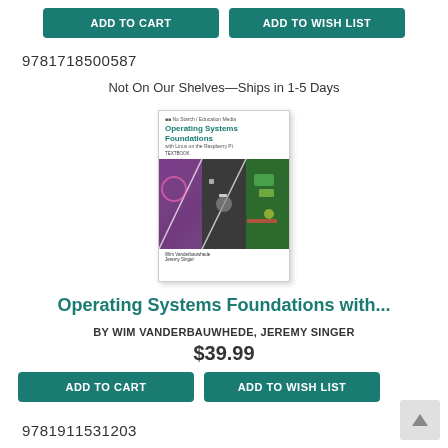ADD TO CART | ADD TO WISH LIST
9781718500587
Not On Our Shelves—Ships in 1-5 Days
[Figure (photo): Book cover of Operating Systems Foundations with Linux on the Raspberry Pi, showing circuit board imagery]
Operating Systems Foundations with...
BY WIM VANDERBAUWHEDE, JEREMY SINGER
$39.99
ADD TO CART | ADD TO WISH LIST
9781911531203